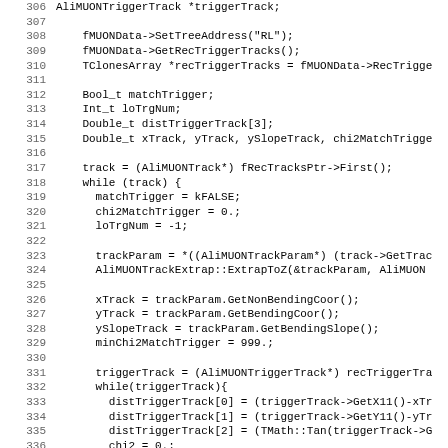Code listing showing C++ MUON tracking code, lines 306-338
306: AliMUONTriggerTrack *triggerTrack;
307: (empty)
308:     fMUONData->SetTreeAddress("RL");
309:     fMUONData->GetRecTriggerTracks();
310:     TClonesArray *recTriggerTracks = fMUONData->RecTrigge
311: (empty)
312:     Bool_t matchTrigger;
313:     Int_t loTrgNum;
314:     Double_t distTriggerTrack[3];
315:     Double_t xTrack, yTrack, ySlopeTrack, chi2MatchTrigge
316: (empty)
317:     track = (AliMUONTrack*) fRecTracksPtr->First();
318:     while (track) {
319:       matchTrigger = kFALSE;
320:       chi2MatchTrigger = 0.;
321:       loTrgNum = -1;
322: (empty)
323:       trackParam = *((AliMUONTrackParam*) (track->GetTrac
324:       AliMUONTrackExtrap::ExtrapToZ(&trackParam, AliMUON
325: (empty)
326:       xTrack = trackParam.GetNonBendingCoor();
327:       yTrack = trackParam.GetBendingCoor();
328:       ySlopeTrack = trackParam.GetBendingSlope();
329:       minChi2MatchTrigger = 999.;
330: (empty)
331:       triggerTrack = (AliMUONTriggerTrack*) recTriggerTra
332:       while(triggerTrack){
333:         distTriggerTrack[0] = (triggerTrack->GetX11()-xTr
334:         distTriggerTrack[1] = (triggerTrack->GetY11()-yTr
335:         distTriggerTrack[2] = (TMath::Tan(triggerTrack->G
336:         chi2 = 0.;
337:         for (Int_t iVar = 0; iVar < 3; iVar++) chi2 += di
338:         chi2 /= 3.; // Normalized Chi2: 3 degrees of free